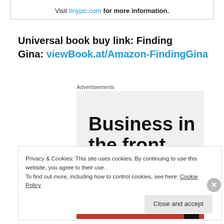Visit tinypic.com for more information.
Universal book buy link: Finding Gina: viewBook.at/Amazon-FindingGina
Advertisements
[Figure (other): Advertisement banner with text 'Business in the front...']
Privacy & Cookies: This site uses cookies. By continuing to use this website, you agree to their use.
To find out more, including how to control cookies, see here: Cookie Policy
Close and accept